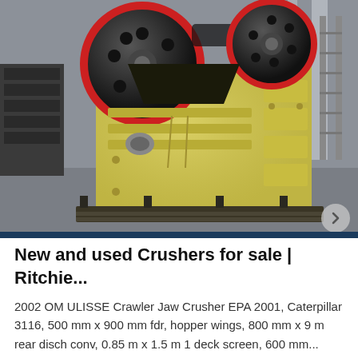[Figure (photo): A large yellow jaw crusher machine with two black flywheel discs (one with red rim) on top, photographed in an industrial warehouse setting. The heavy machinery sits on a steel frame/pallet on a concrete floor.]
New and used Crushers for sale | Ritchie...
2002 OM ULISSE Crawler Jaw Crusher EPA 2001, Caterpillar 3116, 500 mm x 900 mm fdr, hopper wings, 800 mm x 9 m rear disch conv, 0.85 m x 1.5 m 1 deck screen, 600 mm...